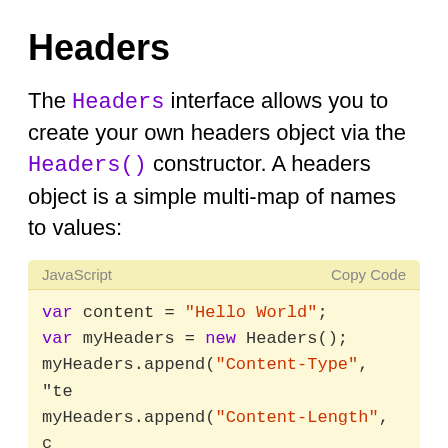Headers
The Headers interface allows you to create your own headers object via the Headers() constructor. A headers object is a simple multi-map of names to values:
[Figure (screenshot): JavaScript code block with yellow background showing: var content = "Hello World"; var myHeaders = new Headers(); myHeaders.append("Content-Type", "te... myHeaders.append("Content-Length", c... myHeaders.append("X-Custom-Header",]
The same can be achieved by passing an array of arrays or an object literal to the